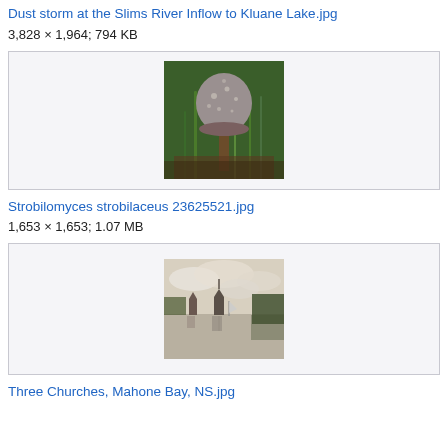Dust storm at the Slims River Inflow to Kluane Lake.jpg
3,828 × 1,964; 794 KB
[Figure (photo): Photo of Strobilomyces strobilaceus mushroom among green plants and grass]
Strobilomyces strobilaceus 23625521.jpg
1,653 × 1,653; 1.07 MB
[Figure (photo): Photo of Three Churches at Mahone Bay, NS reflected in water under cloudy sky]
Three Churches, Mahone Bay, NS.jpg